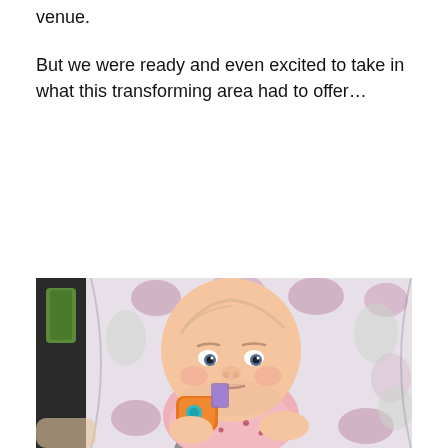venue.
But we were ready and even excited to take in what this transforming area had to offer…
[Figure (photo): A baby with a serious/grumpy expression sitting in a car seat with a pink floral patterned insert, wearing a pink outfit and holding an orange toy. The stroller/car seat has grey straps.]